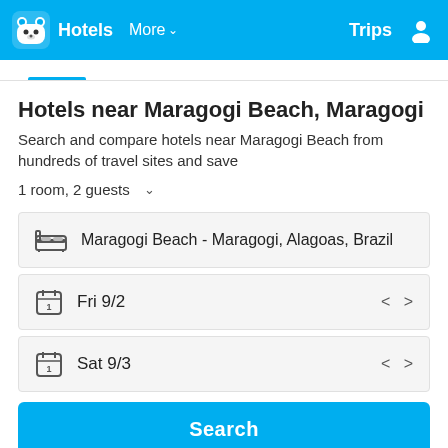Hotels  More  Trips
Hotels near Maragogi Beach, Maragogi
Search and compare hotels near Maragogi Beach from hundreds of travel sites and save
1 room, 2 guests
Maragogi Beach - Maragogi, Alagoas, Brazil
Fri 9/2
Sat 9/3
Search